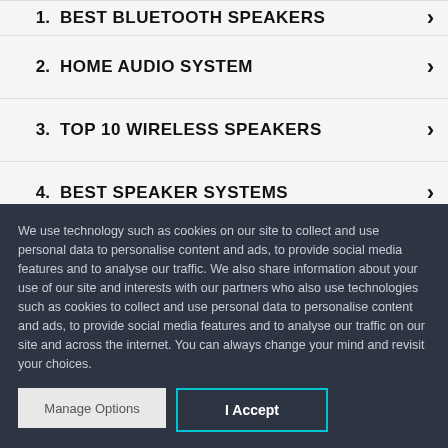1. BEST BLUETOOTH SPEAKERS
2. HOME AUDIO SYSTEM
3. TOP 10 WIRELESS SPEAKERS
4. BEST SPEAKER SYSTEMS
5. BEST SPEAKERS FOR SOUND
We use technology such as cookies on our site to collect and use personal data to personalise content and ads, to provide social media features and to analyse our traffic. We also share information about your use of our site and interests with our partners who also use technologies such as cookies to collect and use personal data to personalise content and ads, to provide social media features and to analyse our traffic on our site and across the internet. You can always change your mind and revisit your choices.
Manage Options | I Accept